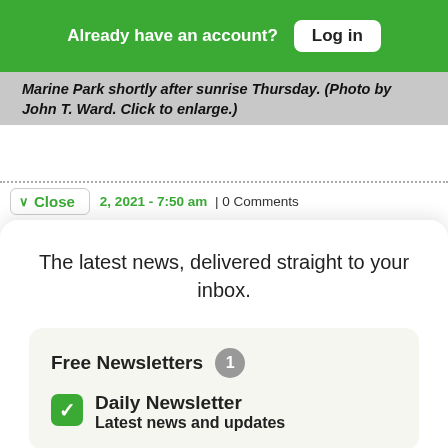Already have an account? Log in
Marine Park shortly after sunrise Thursday. (Photo by John T. Ward. Click to enlarge.)
2, 2021 - 7:50 am | 0 Comments
The latest news, delivered straight to your inbox.
Free Newsletters 1
Daily Newsletter Latest news and updates